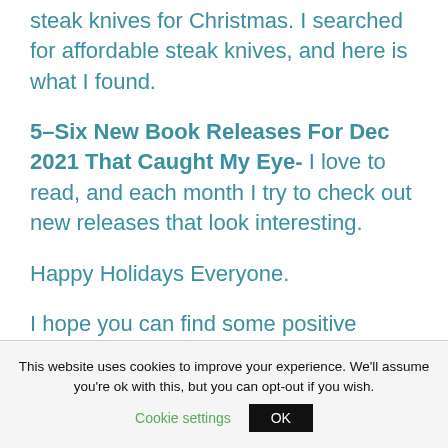steak knives for Christmas. I searched for affordable steak knives, and here is what I found.
5–Six New Book Releases For Dec 2021 That Caught My Eye- I love to read, and each month I try to check out new releases that look interesting.
Happy Holidays Everyone.
I hope you can find some positive diversion in these posts.
This website uses cookies to improve your experience. We'll assume you're ok with this, but you can opt-out if you wish. Cookie settings OK